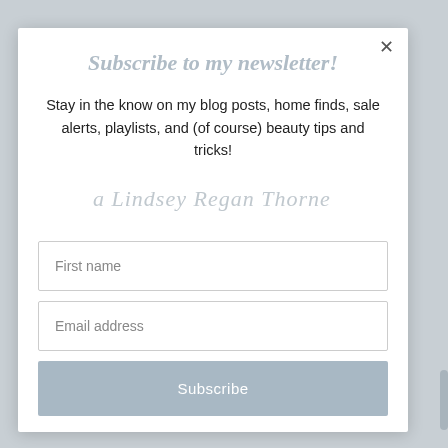[Figure (photo): Background photo of a light grey/beige textured surface, partially visible behind a modal overlay dialog]
Subscribe to my newsletter!
Stay in the know on my blog posts, home finds, sale alerts, playlists, and (of course) beauty tips and tricks!
[Figure (illustration): Handwritten cursive script signature reading 'a Lindsey Regan Thorne' in light grey]
First name
Email address
Subscribe